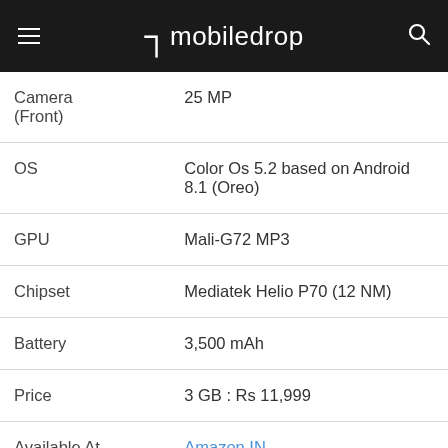mobiledrop
| Spec | Value |
| --- | --- |
| Camera (Front) | 25 MP |
| OS | Color Os 5.2 based on Android 8.1 (Oreo) |
| GPU | Mali-G72 MP3 |
| Chipset | Mediatek Helio P70 (12 NM) |
| Battery | 3,500 mAh |
| Price | 3 GB : Rs 11,999 |
| Available At . | Amazon IN |